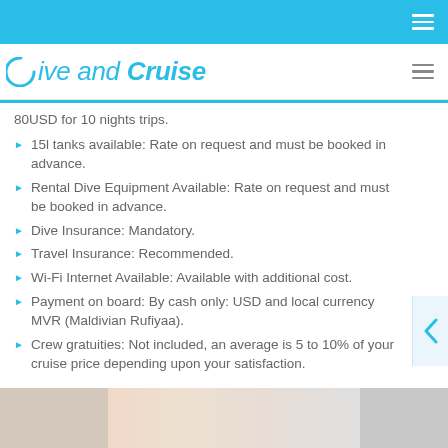Dive and Cruise
80USD for 10 nights trips.
15l tanks available: Rate on request and must be booked in advance.
Rental Dive Equipment Available: Rate on request and must be booked in advance.
Dive Insurance: Mandatory.
Travel Insurance: Recommended.
Wi-Fi Internet Available: Available with additional cost.
Payment on board: By cash only: USD and local currency MVR (Maldivian Rufiyaa).
Crew gratuities: Not included, an average is 5 to 10% of your cruise price depending upon your satisfaction.
Gallery
[Figure (photo): Gallery photo thumbnails at bottom of page]